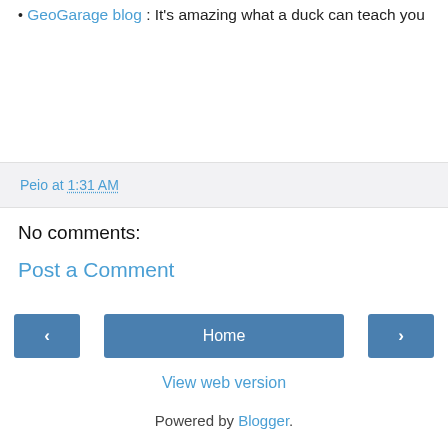GeoGarage blog : It's amazing what a duck can teach you
Peio at 1:31 AM
No comments:
Post a Comment
< Home >
View web version
Powered by Blogger.